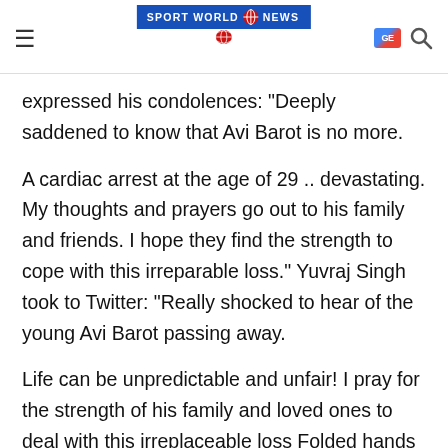Sport World News
expressed his condolences: "Deeply saddened to know that Avi Barot is no more.
A cardiac arrest at the age of 29 .. devastating. My thoughts and prayers go out to his family and friends. I hope they find the strength to cope with this irreparable loss." Yuvraj Singh took to Twitter: "Really shocked to hear of the young Avi Barot passing away.
Life can be unpredictable and unfair! I pray for the strength of his family and loved ones to deal with this irreplaceable loss Folded hands Om Shanti"